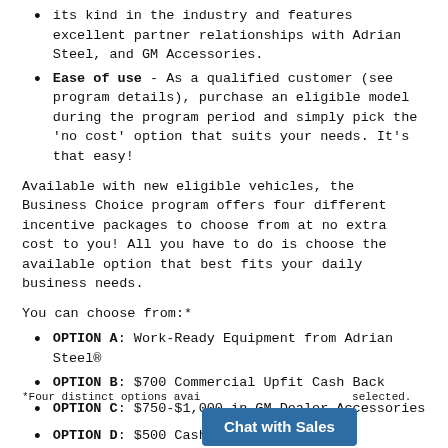its kind in the industry and features excellent partner relationships with Adrian Steel, and GM Accessories.
Ease of use - As a qualified customer (see program details), purchase an eligible model during the program period and simply pick the 'no cost' option that suits your needs. It's that easy!
Available with new eligible vehicles, the Business Choice program offers four different incentive packages to choose from at no extra cost to you! All you have to do is choose the available option that best fits your daily business needs.
You can choose from:*
OPTION A: Work-Ready Equipment from Adrian Steel®
OPTION B: $700 Commercial Upfit Cash Back
OPTION C: $750-$1,000 in GM Dealer Accessories
OPTION D: $500 Cash Incentive
*Four distinct options avail... selected.